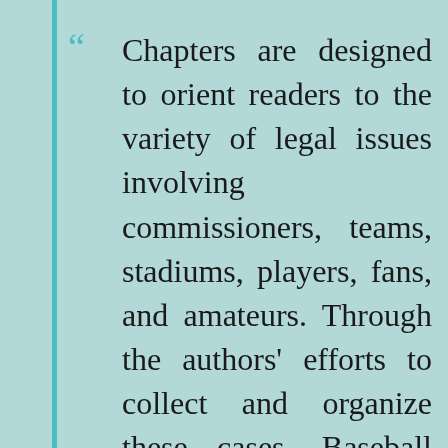Chapters are designed to orient readers to the variety of legal issues involving commissioners, teams, stadiums, players, fans, and amateurs. Through the authors' efforts to collect and organize these cases, Baseball and the Law illuminates how the law shapes the way baseball is played and enjoyed." — The Harvard Law Review